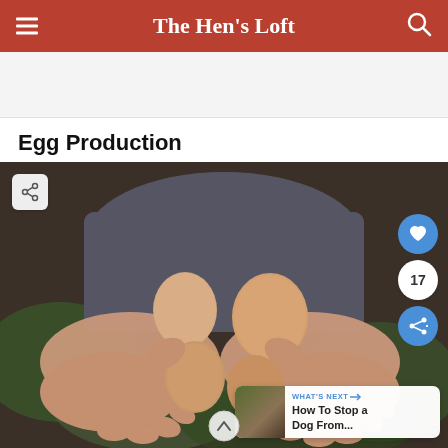The Hen's Loft
Egg Production
[Figure (photo): Child's hands holding four brown eggs, with a blurred outdoor background. Social sharing and like buttons visible on the right side. A 'WHAT'S NEXT' card at bottom right shows 'How To Stop a Dog From...']